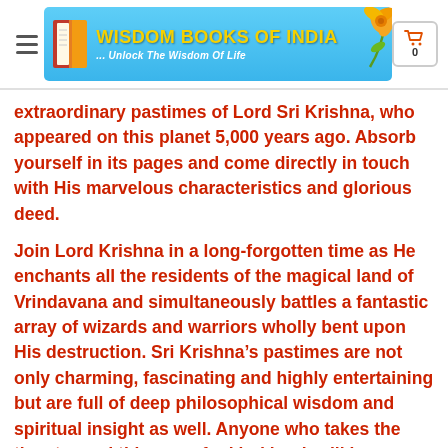[Figure (logo): Wisdom Books of India logo banner with book icon, yellow title text, italic subtitle, and orange flower graphic on blue gradient background]
extraordinary pastimes of Lord Sri Krishna, who appeared on this planet 5,000 years ago. Absorb yourself in its pages and come directly in touch with His marvelous characteristics and glorious deed.
Join Lord Krishna in a long-forgotten time as He enchants all the residents of the magical land of Vrindavana and simultaneously battles a fantastic array of wizards and warriors wholly bent upon His destruction. Sri Krishna’s pastimes are not only charming, fascinating and highly entertaining but are full of deep philosophical wisdom and spiritual insight as well. Anyone who takes the time to read this one-of-a-kind book will be impressed by its